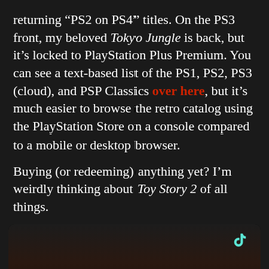returning “PS2 on PS4” titles. On the PS3 front, my beloved Tokyo Jungle is back, but it’s locked to PlayStation Plus Premium. You can see a text-based list of the PS1, PS2, PS3 (cloud), and PSP Classics over here, but it’s much easier to browse the retro catalog using the PlayStation Store on a console compared to a mobile or desktop browser.
Buying (or redeeming) anything yet? I’m weirdly thinking about Toy Story 2 of all things.
[Figure (screenshot): An embedded TikTok video player showing a dark scene, with a TikTok logo in the top right corner, a green progress bar, and overlaid House of the Dragon HBO Max advertisement banner at the bottom with a close button.]